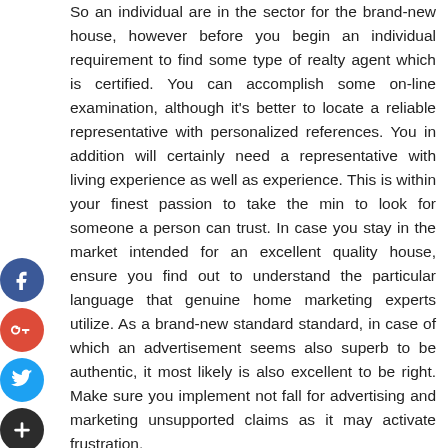So an individual are in the sector for the brand-new house, however before you begin an individual requirement to find some type of realty agent which is certified. You can accomplish some on-line examination, although it's better to locate a reliable representative with personalized references. You in addition will certainly need a representative with living experience as well as experience. This is within your finest passion to take the min to look for someone a person can trust. In case you stay in the market intended for an excellent quality house, ensure you find out to understand the particular language that genuine home marketing experts utilize. As a brand-new standard standard, in case of which an advertisement seems also superb to be authentic, it most likely is also excellent to be right. Make sure you implement not fall for advertising and marketing unsupported claims as it may activate frustration.